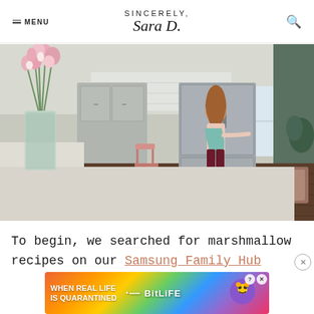MENU | SINCERELY, Sara D. | [search icon]
[Figure (photo): A young girl with long curly red hair wearing dark red pants and a light blue wrap, standing in a modern kitchen opening a stainless steel refrigerator. A vase of pink flowers is on the white marble island in the foreground.]
To begin, we searched for marshmallow recipes on our Samsung Family Hub Re... we...